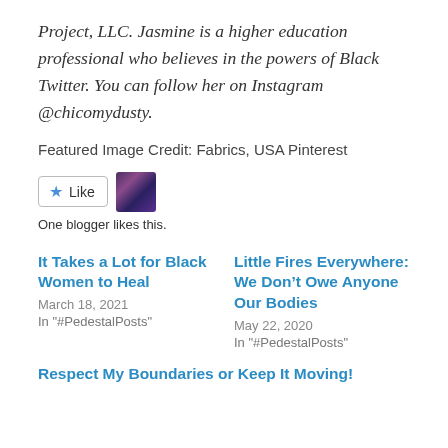Project, LLC. Jasmine is a higher education professional who believes in the powers of Black Twitter. You can follow her on Instagram @chicomydusty.
Featured Image Credit: Fabrics, USA Pinterest
[Figure (other): Like button with star icon and a small blogger avatar thumbnail]
One blogger likes this.
It Takes a Lot for Black Women to Heal
March 18, 2021
In "#PedestalPosts"
Little Fires Everywhere: We Don’t Owe Anyone Our Bodies
May 22, 2020
In "#PedestalPosts"
Respect My Boundaries or Keep It Moving!